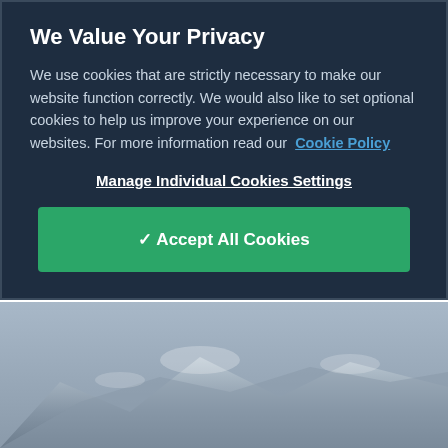We Value Your Privacy
We use cookies that are strictly necessary to make our website function correctly. We would also like to set optional cookies to help us improve your experience on our websites. For more information read our Cookie Policy
Manage Individual Cookies Settings
✔ Accept All Cookies
[Figure (photo): Background showing a muted grey-blue sky and mountain landscape beneath the cookie consent modal]